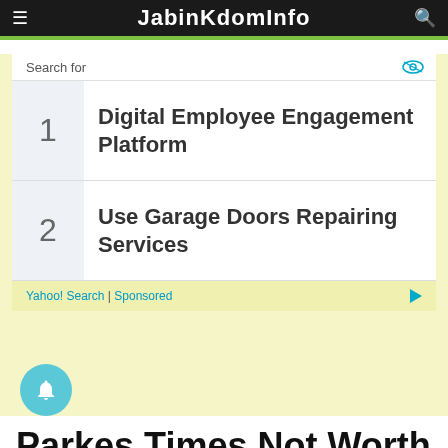JabinKdomInfo
Search for
1  Digital Employee Engagement Platform
2  Use Garage Doors Repairing Services
Yahoo! Search | Sponsored
Parkes Times Not Worth the A Famil...